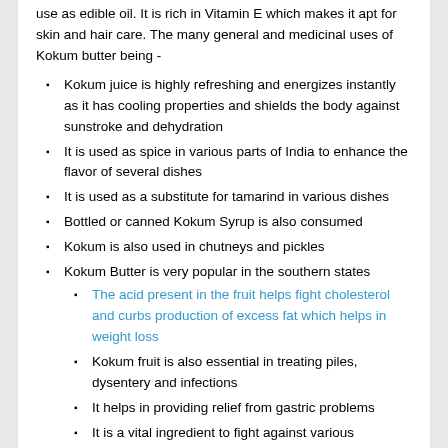use as edible oil. It is rich in Vitamin E which makes it apt for skin and hair care. The many general and medicinal uses of Kokum butter being -
Kokum juice is highly refreshing and energizes instantly as it has cooling properties and shields the body against sunstroke and dehydration
It is used as spice in various parts of India to enhance the flavor of several dishes
It is used as a substitute for tamarind in various dishes
Bottled or canned Kokum Syrup is also consumed
Kokum is also used in chutneys and pickles
Kokum Butter is very popular in the southern states
The acid present in the fruit helps fight cholesterol and curbs production of excess fat which helps in weight loss
Kokum fruit is also essential in treating piles, dysentery and infections
It helps in providing relief from gastric problems
It is a vital ingredient to fight against various